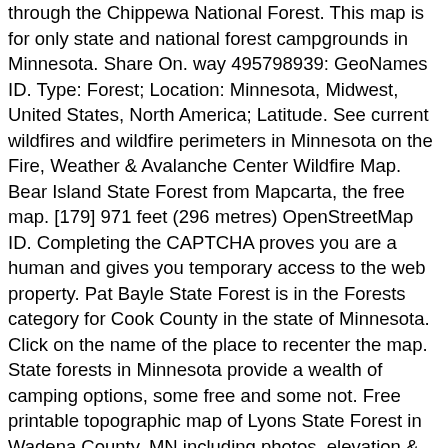through the Chippewa National Forest. This map is for only state and national forest campgrounds in Minnesota. Share On. way 495798939: GeoNames ID. Type: Forest; Location: Minnesota, Midwest, United States, North America; Latitude. See current wildfires and wildfire perimeters in Minnesota on the Fire, Weather & Avalanche Center Wildfire Map. Bear Island State Forest from Mapcarta, the free map. [179] 971 feet (296 metres) OpenStreetMap ID. Completing the CAPTCHA proves you are a human and gives you temporary access to the web property. Pat Bayle State Forest is in the Forests category for Cook County in the state of Minnesota. Click on the name of the place to recenter the map. State forests in Minnesota provide a wealth of camping options, some free and some not. Free printable topographic map of Lyons State Forest in Wadena County, MN including photos, elevation & GPS coordinates. You may need to download version 2.0 now from the Chrome Web Store. Booking.com. Minnesota . Chippewa National Forest is a National Forest located in northcentral Minnesota, United States, in the counties of Itasca, Cass and Beltrami. Pillsbury State Forest The Pillsbury State Forest is a state forest located in Cass County, Minnesota. Google Map. View a map of this area and more on Natural Atlas. ST. CROIX ST. CROIX STATE FOREST MAP MAP AND GUIDE GENERAL STATE FOREST RULES Whether you are